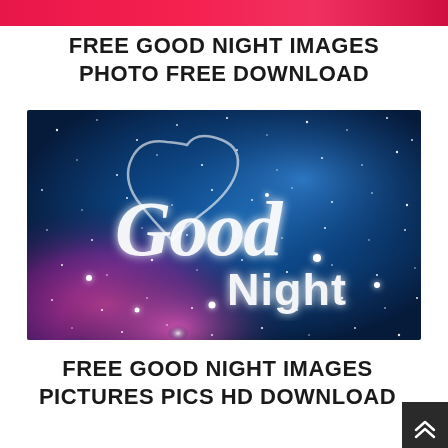[Figure (photo): Partial image at top of page showing a pink/red gradient background, cropped]
FREE GOOD NIGHT IMAGES PHOTO FREE DOWNLOAD
[Figure (photo): Good Night greeting image with blue and pink starry galaxy background, white cursive 'Good' text and sans-serif 'Night' text with sparkles and heart outline]
FREE GOOD NIGHT IMAGES PICTURES PICS HD DOWNLOAD